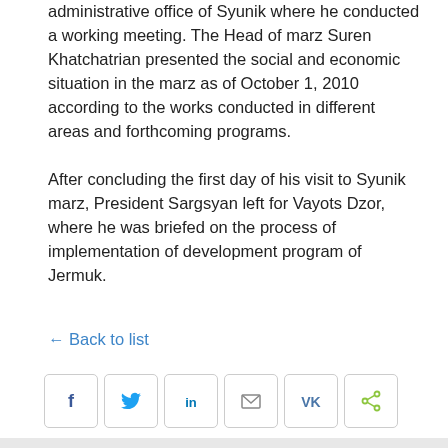administrative office of Syunik where he conducted a working meeting. The Head of marz Suren Khatchatrian presented the social and economic situation in the marz as of October 1, 2010 according to the works conducted in different areas and forthcoming programs.
After concluding the first day of his visit to Syunik marz, President Sargsyan left for Vayots Dzor, where he was briefed on the process of implementation of development program of Jermuk.
← Back to list
[Figure (other): Social sharing buttons row: Facebook (f), Twitter (bird), LinkedIn (in), Email (envelope), VK (VK), Share (<)]